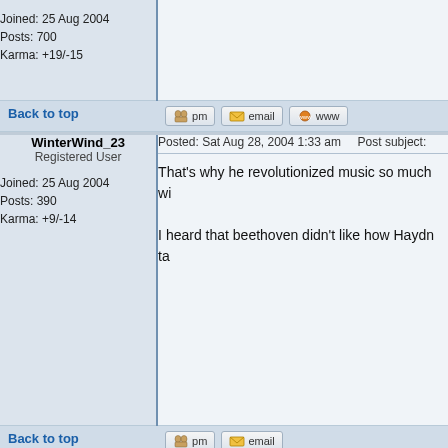Joined: 25 Aug 2004
Posts: 700
Karma: +19/-15
Back to top
WinterWind_23
Registered User
Posted: Sat Aug 28, 2004 1:33 am    Post subject:
That's why he revolutionized music so much wi
I heard that beethoven didn't like how Haydn ta
Joined: 25 Aug 2004
Posts: 390
Karma: +9/-14
Back to top
Comme_le_Vent
Permanently Banned
Posted: Sat Aug 28, 2004 2:59 am    Post subject:
From what I've heard, Mozart said [] a lot.

Respect!
Age: 20
Gender:
Joined: 26 Aug 2004
Posts: 597
Karma: +7/-28
Location: Northumberland
Back to top
Jeliness2
Moderator Team Lieder
Posted: Sat Aug 28, 2004 3:05 am    Post subject: